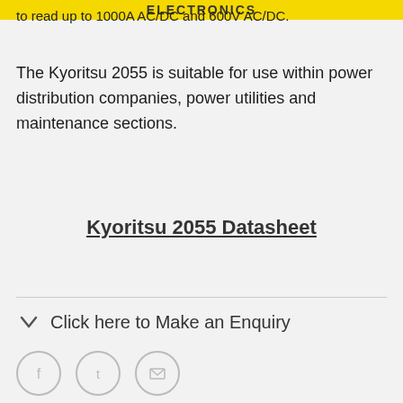ELECTRONICS
to read up to 1000A AC/DC and 600V AC/DC.
The Kyoritsu 2055 is suitable for use within power distribution companies, power utilities and maintenance sections.
Kyoritsu 2055 Datasheet
Click here to Make an Enquiry